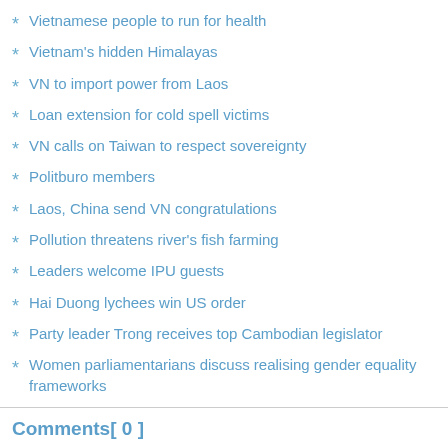Vietnamese people to run for health
Vietnam's hidden Himalayas
VN to import power from Laos
Loan extension for cold spell victims
VN calls on Taiwan to respect sovereignty
Politburo members
Laos, China send VN congratulations
Pollution threatens river's fish farming
Leaders welcome IPU guests
Hai Duong lychees win US order
Party leader Trong receives top Cambodian legislator
Women parliamentarians discuss realising gender equality frameworks
Comments[ 0 ]
Post a Comment
To leave a comment, click the button below to sign in with Go